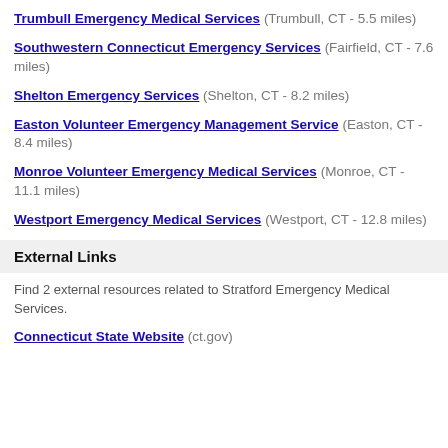Trumbull Emergency Medical Services (Trumbull, CT - 5.5 miles)
Southwestern Connecticut Emergency Services (Fairfield, CT - 7.6 miles)
Shelton Emergency Services (Shelton, CT - 8.2 miles)
Easton Volunteer Emergency Management Service (Easton, CT - 8.4 miles)
Monroe Volunteer Emergency Medical Services (Monroe, CT - 11.1 miles)
Westport Emergency Medical Services (Westport, CT - 12.8 miles)
External Links
Find 2 external resources related to Stratford Emergency Medical Services.
Connecticut State Website (ct.gov)